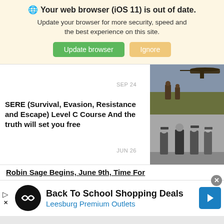🌐 Your web browser (iOS 11) is out of date. Update your browser for more security, speed and the best experience on this site. [Update browser] [Ignore]
SEP 24
[Figure (photo): Military/combat photo showing soldiers with helicopters in a field setting, color image]
SERE (Survival, Evasion, Resistance and Escape) Level C Course And the truth will set you free
JUN 26
[Figure (photo): Black and white photo of military officers in uniform standing in a group]
Robin Sage Begins, June 9th, Time For
Back To School Shopping Deals Leesburg Premium Outlets